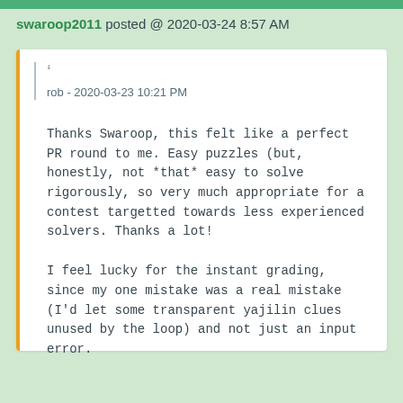swaroop2011 posted @ 2020-03-24 8:57 AM
" rob - 2020-03-23 10:21 PM
Thanks Swaroop, this felt like a perfect PR round to me. Easy puzzles (but, honestly, not *that* easy to solve rigorously, so very much appropriate for a contest targetted towards less experienced solvers. Thanks a lot!
I feel lucky for the instant grading, since my one mistake was a real mistake (I'd let some transparent yajilin clues unused by the loop) and not just an input error.